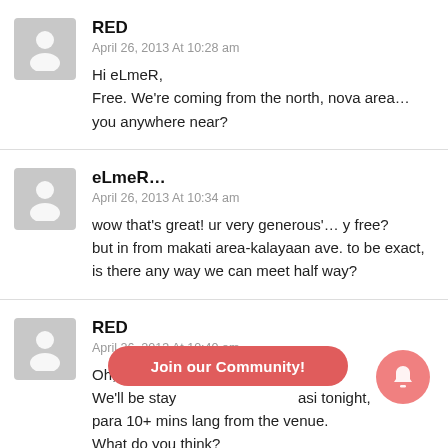RED
April 26, 2013 At 10:28 am
Hi eLmeR,
Free. We're coming from the north, nova area… you anywhere near?
eLmeR…
April 26, 2013 At 10:34 am
wow that's great! ur very generous'… y free?
but in from makati area-kalayaan ave. to be exact, is there any way we can meet half way?
RED
April 26, 2013 At 10:40 am
Oh, a little out of the way :(
We'll be stay… asi tonight, para 10+ mins lang from the venue.
What do you think?
Join our Community!